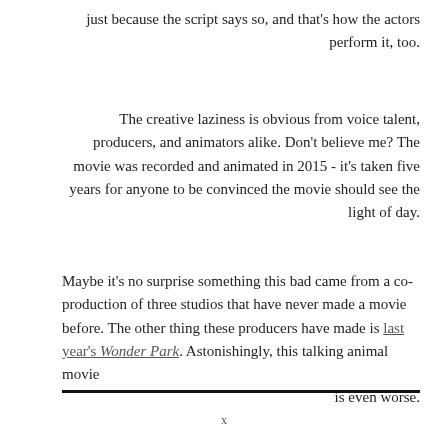just because the script says so, and that's how the actors perform it, too.
The creative laziness is obvious from voice talent, producers, and animators alike. Don't believe me? The movie was recorded and animated in 2015 - it's taken five years for anyone to be convinced the movie should see the light of day.
Maybe it's no surprise something this bad came from a co-production of three studios that have never made a movie before. The other thing these producers have made is last year's Wonder Park. Astonishingly, this talking animal movie is even worse.